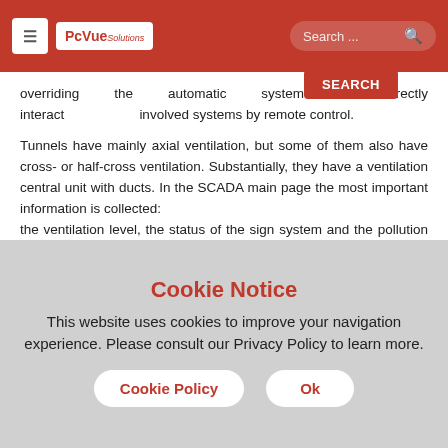PcVue Solutions — navigation header with menu, logo, and search bar
overriding the automatic system to directly interact involved systems by remote control.
Tunnels have mainly axial ventilation, but some of them also have cross- or half-cross ventilation. Substantially, they have a ventilation central unit with ducts. In the SCADA main page the most important information is collected: the ventilation level, the status of the sign system and the pollution with different settable thresholds. Moreover, the status of every object is shown. In the simulation mode it is possible to change the alarm thresholds. Special algorithms are incorporated. For instance, in the ventilation system, algorithms prevent oscillations by taking into
Cookie Notice
This website uses cookies to improve your navigation experience. Please consult our Privacy Policy to learn more.
Cookie Policy   Ok